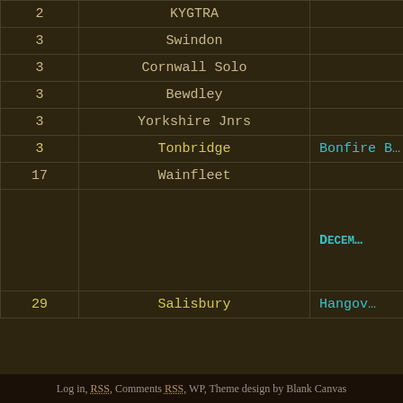| # | Location | Event |
| --- | --- | --- |
| 2 | KYGTRA |  |
| 3 | Swindon |  |
| 3 | Cornwall Solo |  |
| 3 | Bewdley |  |
| 3 | Yorkshire Jnrs |  |
| 3 | Tonbridge | Bonfire B… |
| 17 | Wainfleet |  |
|  |  | December… |
| 29 | Salisbury | Hangov… |
Search for:
Log in, RSS, Comments RSS, WP, Theme design by Blank Canvas